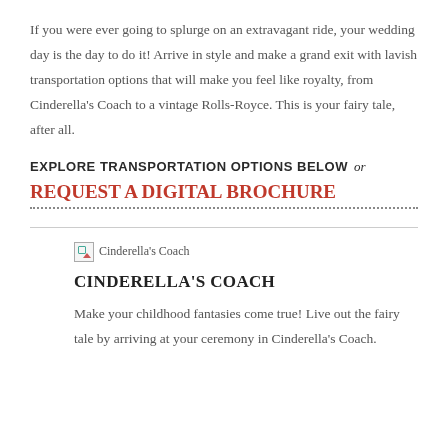If you were ever going to splurge on an extravagant ride, your wedding day is the day to do it! Arrive in style and make a grand exit with lavish transportation options that will make you feel like royalty, from Cinderella's Coach to a vintage Rolls-Royce. This is your fairy tale, after all.
EXPLORE TRANSPORTATION OPTIONS BELOW or
REQUEST A DIGITAL BROCHURE
[Figure (photo): Broken image placeholder labeled Cinderella's Coach]
CINDERELLA'S COACH
Make your childhood fantasies come true! Live out the fairy tale by arriving at your ceremony in Cinderella's Coach.